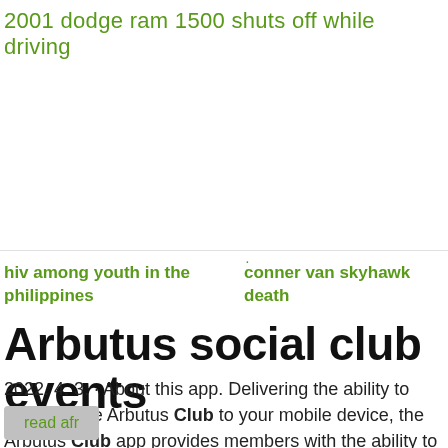2001 dodge ram 1500 shuts off while driving
hiv among youth in the philippines
conner van skyhawk death
Arbutus social club events
2022. 4. 3. · About this app. Delivering the ability to connect The Arbutus Club to your mobile device, the Arbutus Club app provides members with the ability to view their Statements, register for Events and even Book
read afr